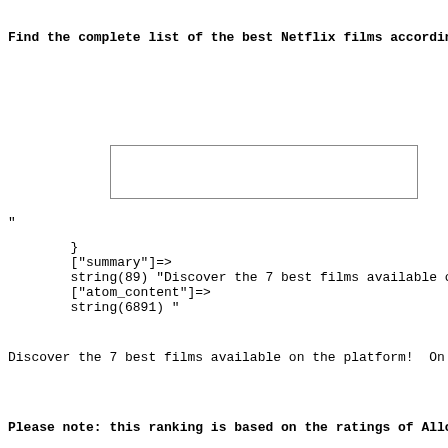Find the complete list of the best Netflix films accordin
[Figure (screenshot): A rectangular input box / text field (empty)]
"
}
        ["summary"]=>
        string(89) "Discover the 7 best films available on
        ["atom_content"]=>
        string(6891) "
Discover the 7 best films available on the platform!  On
Please note: this ranking is based on the ratings of Allo